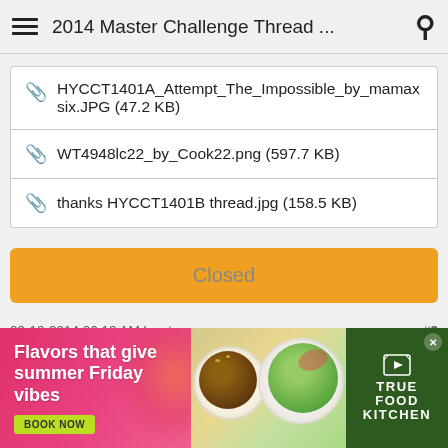2014 Master Challenge Thread ...
HYCCT1401A_Attempt_The_Impossible_by_mamaxsix.JPG (47.2 KB)
WT4948lc22_by_Cook22.png (597.7 KB)
thanks HYCCT1401B thread.jpg (158.5 KB)
Closed
09-10-2014 06:12 AM by stamp_momma #2
[Figure (photo): Advertisement banner: True Food Kitchen ad with text 'Flavors that give summer Friday vibes', a BOOK NOW button, food photos, and True Food Kitchen logo on dark green background.]